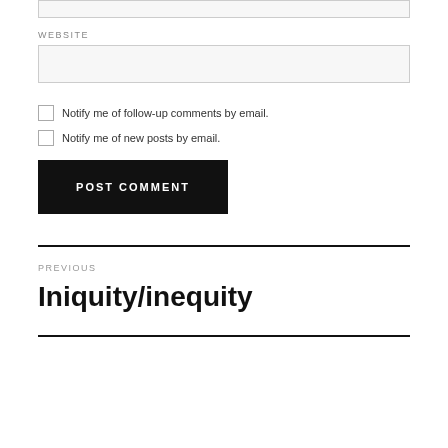WEBSITE
[Figure (screenshot): Website input text field (empty, light gray background)]
Notify me of follow-up comments by email.
Notify me of new posts by email.
POST COMMENT
PREVIOUS
Iniquity/inequity